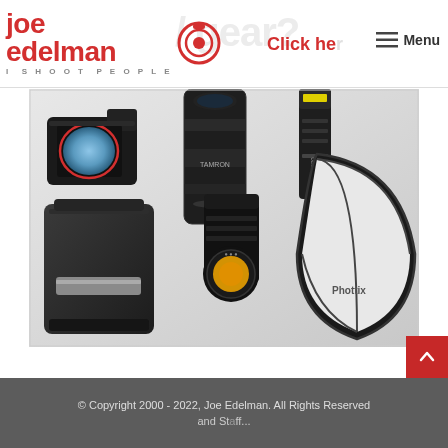Joe Edelman | I SHOOT PEOPLE — Menu
[Figure (photo): Photography gear flatlay including a Sony mirrorless camera body, Tamron zoom lens, camera backpack, studio monolight strobe, Westcott C200 LED, and Phottix spherical softbox arranged on a white background]
© Copyright 2000 - 2022, Joe Edelman. All Rights Reserved